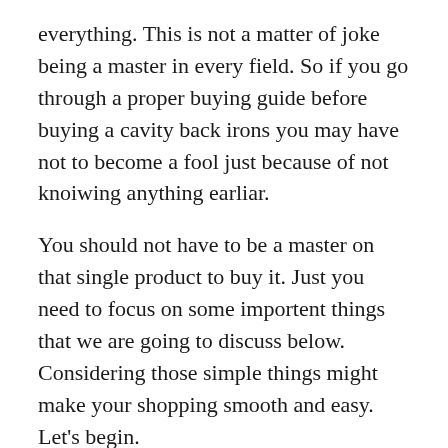everything. This is not a matter of joke being a master in every field. So if you go through a proper buying guide before buying a cavity back irons you may have not to become a fool just because of not knoiwing anything earliar.
You should not have to be a master on that single product to buy it. Just you need to focus on some importent things that we are going to discuss below. Considering those simple things might make your shopping smooth and easy. Let's begin.
Understand Your Needs
The first thing you need to discover that what your needs or requirement. If you are not well aware of your needs, there is a good chance that you will purchase the wrong products at the wrong time,